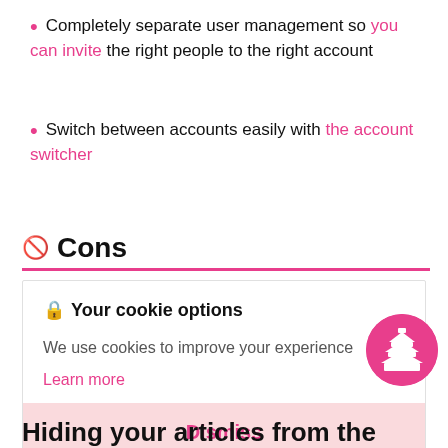Completely separate user management so you can invite the right people to the right account
Switch between accounts easily with the account switcher
Cons
Your cookie options
We use cookies to improve your experience
Learn more
Dismiss
Hiding your articles from the